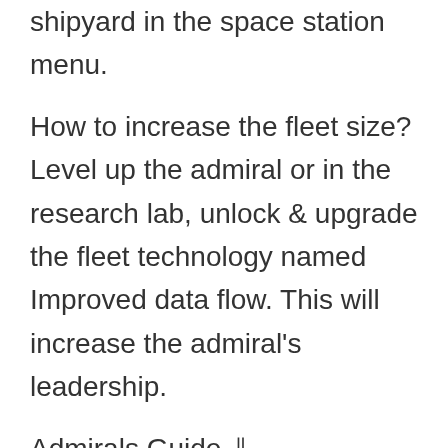shipyard in the space station menu.
How to increase the fleet size? Level up the admiral or in the research lab, unlock & upgrade the fleet technology named Improved data flow. This will increase the admiral's leadership.
Admirals Guide ⇓
Admirals lead the ships in space. You can send the admirals to attack the enemy's space station or collect the resources from the planets. How to get admirals? On the main screen of the game, at the top, tap the